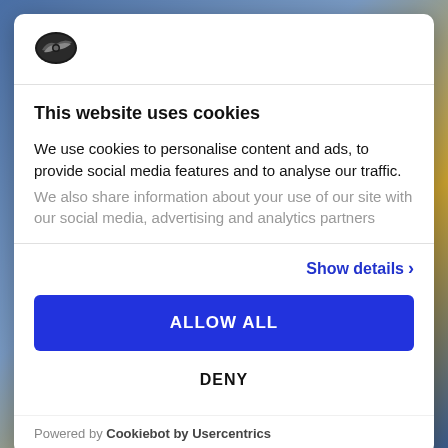[Figure (logo): Skoda/car brand logo - oval dark emblem with wing/checkmark design]
This website uses cookies
We use cookies to personalise content and ads, to provide social media features and to analyse our traffic. We also share information about your use of our site with our social media, advertising and analytics partners
Show details ›
ALLOW ALL
DENY
Powered by Cookiebot by Usercentrics